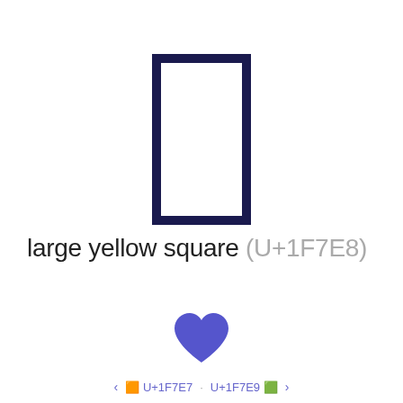[Figure (illustration): A tall narrow rectangle outline with dark navy border and white fill, representing the large yellow square Unicode character U+1F7E8]
large yellow square (U+1F7E8)
[Figure (illustration): A medium blue/indigo filled heart shape icon]
< 🟧 U+1F7E7 · U+1F7E9 🟩 >